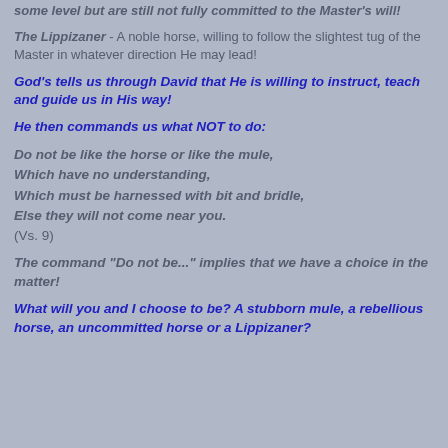some level but are still not fully committed to the Master's will!
The Lippizaner - A noble horse, willing to follow the slightest tug of the Master in whatever direction He may lead!
God's tells us through David that He is willing to instruct, teach and guide us in His way!
He then commands us what NOT to do:
Do not be like the horse or like the mule,
Which have no understanding,
Which must be harnessed with bit and bridle,
Else they will not come near you.
(Vs. 9)
The command "Do not be..." implies that we have a choice in the matter!
What will you and I choose to be? A stubborn mule, a rebellious horse, an uncommitted horse or a Lippizaner?